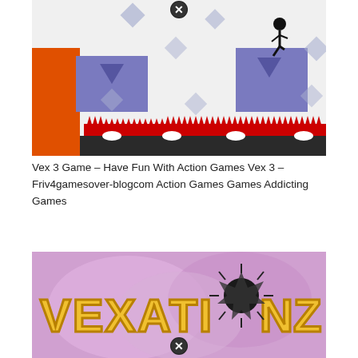[Figure (screenshot): Vex 3 platform game screenshot showing a stickman character on a purple platform, orange wall on left, red spiky hazards at bottom, diamond shapes in background, close button at top center]
Vex 3 Game – Have Fun With Action Games Vex 3 – Friv4gamesover-blogcom Action Games Games Addicting Games
[Figure (screenshot): Vexationz game title screen showing colorful yellow bubble letters spelling VEXATIONZ with explosion effect in center, pink/purple cloudy background, close button at bottom center]